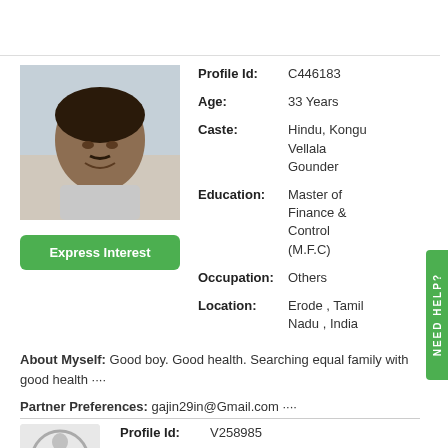[Figure (photo): Profile photo of a young Indian man]
Express Interest
Profile Id: C446183
Age: 33 Years
Caste: Hindu, Kongu Vellala Gounder
Education: Master of Finance & Control (M.F.C)
Occupation: Others
Location: Erode , Tamil Nadu , India
About Myself: Good boy. Good health. Searching equal family with good health ····
Partner Preferences: gajin29in@Gmail.com ····
[Figure (illustration): Privacy/locked profile icon placeholder]
Profile Id: V258985
Age: 32 Years